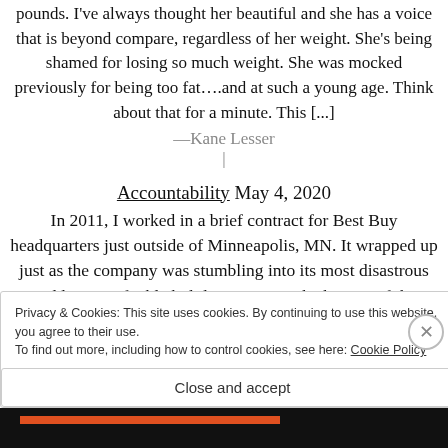pounds. I've always thought her beautiful and she has a voice that is beyond compare, regardless of her weight. She's being shamed for losing so much weight. She was mocked previously for being too fat….and at such a young age. Think about that for a minute. This [...]
—Kane Lesser
|
Accountability May 4, 2020
In 2011, I worked in a brief contract for Best Buy headquarters just outside of Minneapolis, MN. It wrapped up just as the company was stumbling into its most disastrous and least-profitable holiday season in the history of the company.
Privacy & Cookies: This site uses cookies. By continuing to use this website, you agree to their use. To find out more, including how to control cookies, see here: Cookie Policy
Close and accept